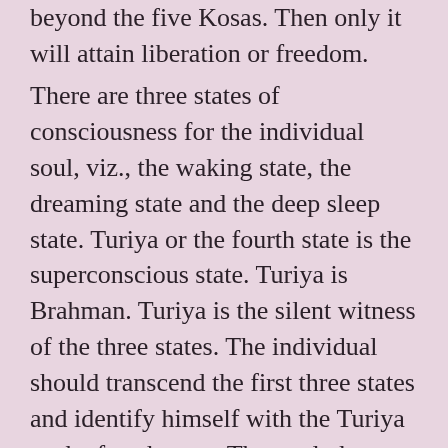beyond the five Kosas. Then only it will attain liberation or freedom.
There are three states of consciousness for the individual soul, viz., the waking state, the dreaming state and the deep sleep state. Turiya or the fourth state is the superconscious state. Turiya is Brahman. Turiya is the silent witness of the three states. The individual should transcend the first three states and identify himself with the Turiya or the fourth state. Then only he can attain oneness with the Supreme Soul.